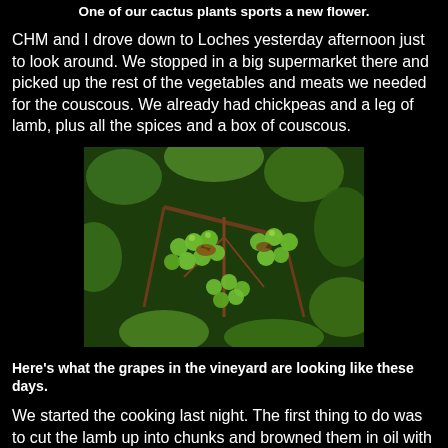One of our cactus plants sports a new flower.
CHM and I drove down to Loches yesterday afternoon just to look around. We stopped in a big supermarket there and picked up the rest of the vegetables and meats we needed for the couscous. We already had chickpeas and a leg of lamb, plus all the spices and a box of couscous.
[Figure (photo): Close-up photograph of green unripe grapes on the vine with leaves and brown woody stems visible.]
Here's what the grapes in the vineyard are looking like these days.
We started the cooking last night. The first thing to do was to cut the lamb up into chunks and browned them in oil with onions, garlic, and spices. When the meat was well browned,